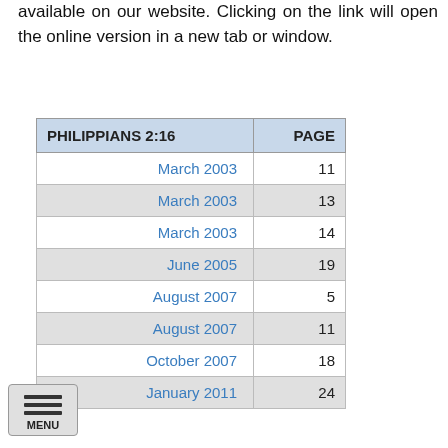available on our website. Clicking on the link will open the online version in a new tab or window.
| PHILIPPIANS 2:16 | PAGE |
| --- | --- |
| March 2003 | 11 |
| March 2003 | 13 |
| March 2003 | 14 |
| June 2005 | 19 |
| August 2007 | 5 |
| August 2007 | 11 |
| October 2007 | 18 |
| January 2011 | 24 |